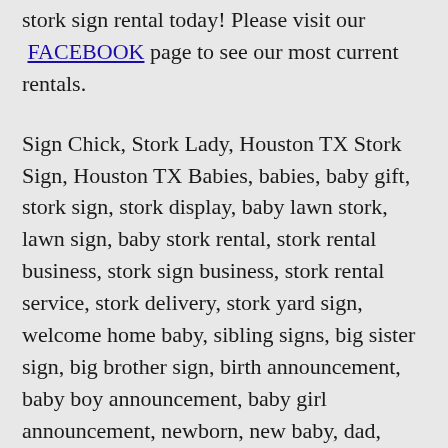stork sign rental today! Please visit our FACEBOOK page to see our most current rentals.
Sign Chick, Stork Lady, Houston TX Stork Sign, Houston TX Babies, babies, baby gift, stork sign, stork display, baby lawn stork, lawn sign, baby stork rental, stork rental business, stork sign business, stork rental service, stork delivery, stork yard sign, welcome home baby, sibling signs, big sister sign, big brother sign, birth announcement, baby boy announcement, baby girl announcement, newborn, new baby, dad, mom, new mother, parents, grandparents, grandchildren, lawn greetings, yard greetings, birthday sign rental, cow sign rental, birthday cake sign rental,  birthday yard sign, birthday lawn sign, 50th birthday sign, 40th birthday sign, Harris County, TX, Cypress, TX, Tomball, TX, Waller, TX, Hockley, TX, Jersey Village, TX, Copperfield, TX, Spring, TX, Klein, TX, Katy, TX Texas,